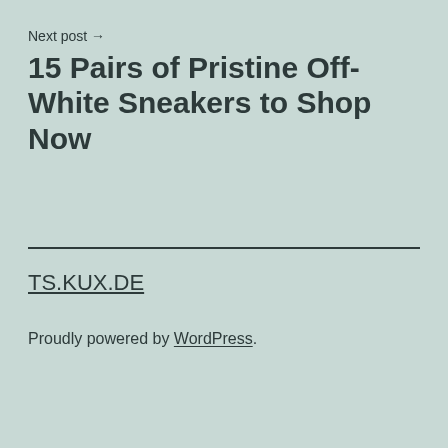Next post →
15 Pairs of Pristine Off-White Sneakers to Shop Now
TS.KUX.DE
Proudly powered by WordPress.